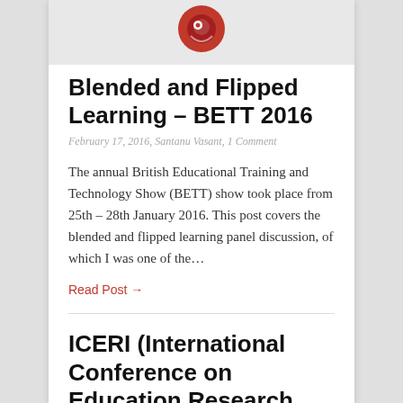[Figure (logo): Red circular logo with bird/eye icon on light grey background]
Blended and Flipped Learning – BETT 2016
February 17, 2016, Santanu Vasant, 1 Comment
The annual British Educational Training and Technology Show (BETT) show took place from 25th – 28th January 2016. This post covers the blended and flipped learning panel discussion, of which I was one of the…
Read Post →
ICERI (International Conference on Education Research and...